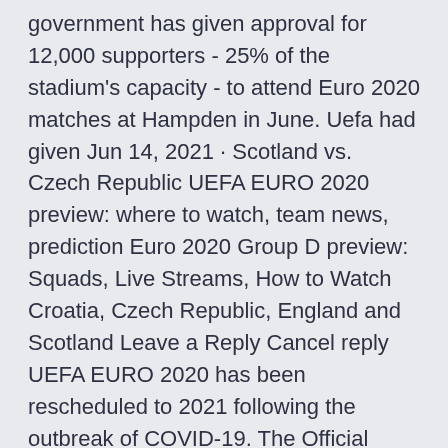government has given approval for 12,000 supporters - 25% of the stadium's capacity - to attend Euro 2020 matches at Hampden in June. Uefa had given Jun 14, 2021 · Scotland vs. Czech Republic UEFA EURO 2020 preview: where to watch, team news, prediction Euro 2020 Group D preview: Squads, Live Streams, How to Watch Croatia, Czech Republic, England and Scotland Leave a Reply Cancel reply UEFA EURO 2020 has been rescheduled to 2021 following the outbreak of COVID-19. The Official Hospitality programme is now back on-sale. IMG are an authorised Official Hospitality Sales Agent for the tournament in England, Northern Ireland, Rep of Ireland, Scotland & Wales.